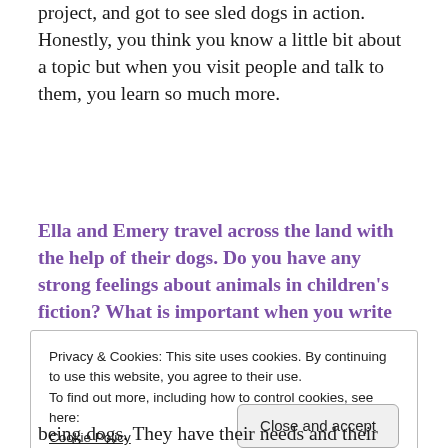project, and got to see sled dogs in action. Honestly, you think you know a little bit about a topic but when you visit people and talk to them, you learn so much more.
Ella and Emery travel across the land with the help of their dogs. Do you have any strong feelings about animals in children's fiction? What is important when you write animal characters?
Privacy & Cookies: This site uses cookies. By continuing to use this website, you agree to their use.
To find out more, including how to control cookies, see here:
Cookie Policy
being dogs. They have their needs and their